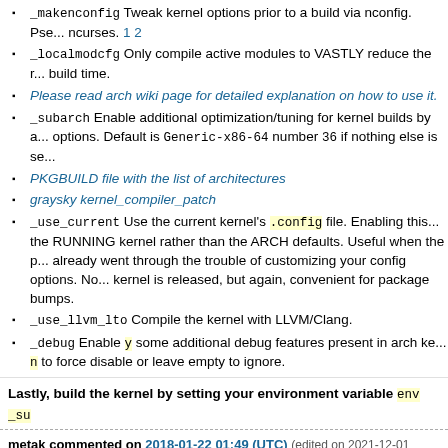_makenconfig Tweak kernel options prior to a build via nconfig. Pse... ncurses. 1 2
_localmodcfg Only compile active modules to VASTLY reduce the r... build time.
Please read arch wiki page for detailed explanation on how to use it.
_subarch Enable additional optimization/tuning for kernel builds by a... options. Default is Generic-x86-64 number 36 if nothing else is se...
PKGBUILD file with the list of architectures
graysky kernel_compiler_patch
_use_current Use the current kernel's .config file. Enabling this... the RUNNING kernel rather than the ARCH defaults. Useful when the p... already went through the trouble of customizing your config options. N... kernel is released, but again, convenient for package bumps.
_use_llvm_lto Compile the kernel with LLVM/Clang.
_debug Enable y some additional debug features present in arch ke... n to force disable or leave empty to ignore.
Lastly, build the kernel by setting your environment variable env _su
metak commented on 2018-01-22 01:49 (UTC) (edited on 2021-12-01 12:47
1. Binaries available in my repo:
http://download.opensuse.org/repositories/home:/metakcahura:/kerne...
[home metakcahura kernel] Arch Extra standard]